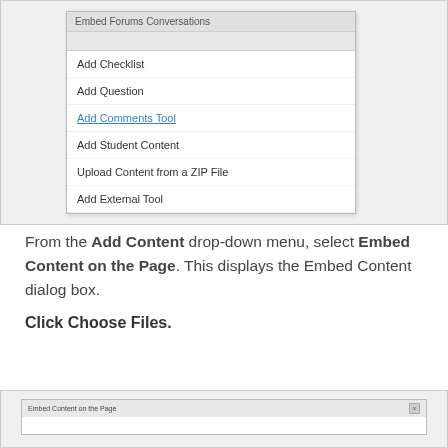[Figure (screenshot): Screenshot of a dropdown menu showing: Add Checklist, Add Question, Add Comments Tool (highlighted/linked), Add Student Content, Upload Content from a ZIP File, Add External Tool]
From the Add Content drop-down menu, select Embed Content on the Page. This displays the Embed Content dialog box.
Click Choose Files.
[Figure (screenshot): Screenshot of the Embed Content on the Page dialog box]